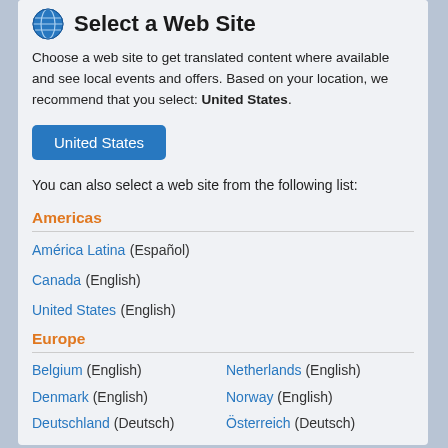Select a Web Site
Choose a web site to get translated content where available and see local events and offers. Based on your location, we recommend that you select: United States.
United States (button)
You can also select a web site from the following list:
Americas
América Latina (Español)
Canada (English)
United States (English)
Europe
Belgium (English)
Netherlands (English)
Denmark (English)
Norway (English)
Deutschland (Deutsch)
Österreich (Deutsch)